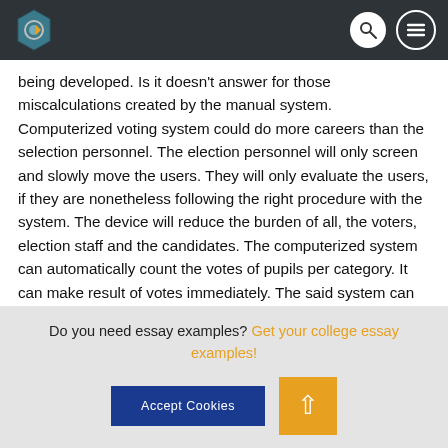[Website header with logo, search icon, and menu icon]
being developed. Is it doesn't answer for those miscalculations created by the manual system. Computerized voting system could do more careers than the selection personnel. The election personnel will only screen and slowly move the users. They will only evaluate the users, if they are nonetheless following the right procedure with the system. The device will reduce the burden of all, the voters, election staff and the candidates. The computerized system can automatically count the votes of pupils per category. It can make result of votes immediately. The said system can also develop hardcopy pertaining to reports. It is usually viewed and printed as well.
Do you need essay examples? Get your college essay examples!
Accept Cookies